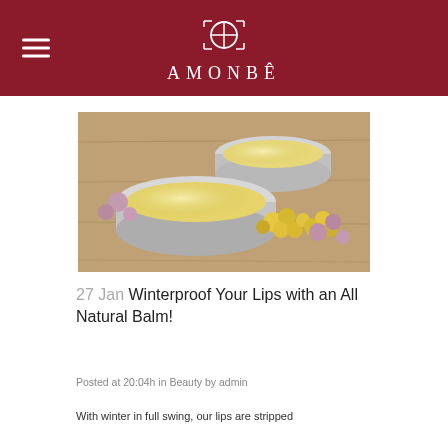AMONBÊ
[Figure (photo): Two open tins of lip balm surrounded by yellow and pink dried flowers on a wooden surface]
27 Jan Winterproof Your Lips with an All Natural Balm!
Posted at 20:04h in Beauty by admin
With winter in full swing, our lips are stripped